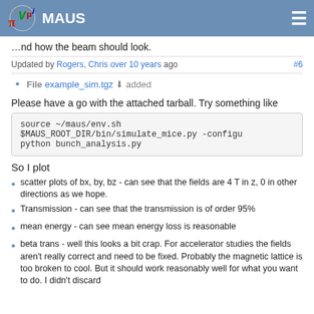MAUS
understand how the beam should look.
Updated by Rogers, Chris over 10 years ago #6
File example_sim.tgz ⬇ added
Please have a go with the attached tarball. Try something like
source ~/maus/env.sh
$MAUS_ROOT_DIR/bin/simulate_mice.py -configu
python bunch_analysis.py
So I plot
scatter plots of bx, by, bz - can see that the fields are 4 T in z, 0 in other directions as we hope.
Transmission - can see that the transmission is of order 95%
mean energy - can see mean energy loss is reasonable
beta trans - well this looks a bit crap. For accelerator studies the fields aren't really correct and need to be fixed. Probably the magnetic lattice is too broken to cool. But it should work reasonably well for what you want to do. I didn't discard